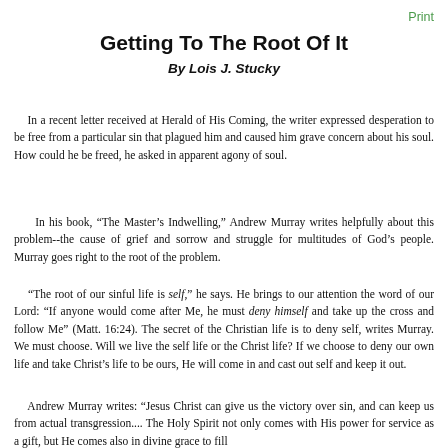Print
Getting To The Root Of It
By Lois J. Stucky
In a recent letter received at Herald of His Coming, the writer expressed desperation to be free from a particular sin that plagued him and caused him grave concern about his soul. How could he be freed, he asked in apparent agony of soul.
In his book, “The Master’s Indwelling,” Andrew Murray writes helpfully about this problem--the cause of grief and sorrow and struggle for multitudes of God’s people. Murray goes right to the root of the problem.
“The root of our sinful life is self,” he says. He brings to our attention the word of our Lord: “If anyone would come after Me, he must deny himself and take up the cross and follow Me” (Matt. 16:24). The secret of the Christian life is to deny self, writes Murray. We must choose. Will we live the self life or the Christ life? If we choose to deny our own life and take Christ’s life to be ours, He will come in and cast out self and keep it out.
Andrew Murray writes: “Jesus Christ can give us the victory over sin, and can keep us from actual transgression.... The Holy Spirit not only comes with His power for service as a gift, but He comes also in divine grace to fill